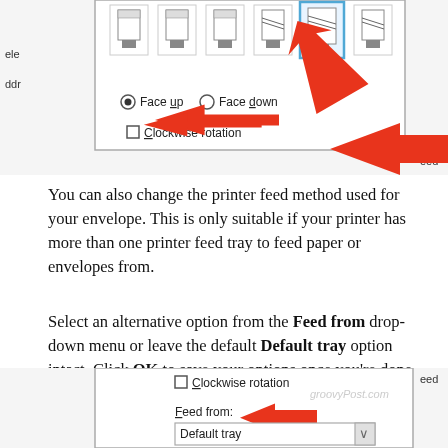[Figure (screenshot): Screenshot of printer envelope settings dialog showing envelope orientation icons (one highlighted in blue), Face up/Face down radio buttons, Clockwise rotation checkbox, and two red arrows pointing to the highlighted icon and the Clockwise rotation area.]
You can also change the printer feed method used for your envelope. This is only suitable if your printer has more than one printer feed tray to feed paper or envelopes from.
Select an alternative option from the Feed from drop-down menu or leave the default Default tray option intact. Click OK to save your options once you're done.
[Figure (screenshot): Screenshot of printer dialog showing Clockwise rotation checkbox, Feed from label with red arrow pointing to it, and Default tray dropdown. Watermark groovyPost.com visible.]